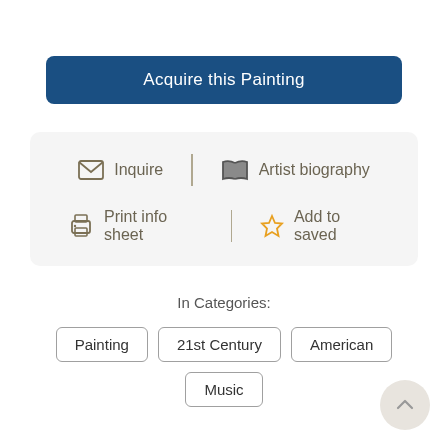Acquire this Painting
Inquire  Artist biography  Print info sheet  Add to saved
In Categories:
Painting
21st Century
American
Music